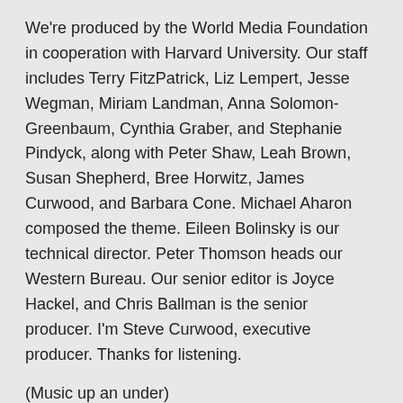We're produced by the World Media Foundation in cooperation with Harvard University. Our staff includes Terry FitzPatrick, Liz Lempert, Jesse Wegman, Miriam Landman, Anna Solomon-Greenbaum, Cynthia Graber, and Stephanie Pindyck, along with Peter Shaw, Leah Brown, Susan Shepherd, Bree Horwitz, James Curwood, and Barbara Cone. Michael Aharon composed the theme. Eileen Bolinsky is our technical director. Peter Thomson heads our Western Bureau. Our senior editor is Joyce Hackel, and Chris Ballman is the senior producer. I'm Steve Curwood, executive producer. Thanks for listening.
(Music up an under)
ANNOUNCER: Funding for Living on Earth comes from the World Media Foundation Environmental Information